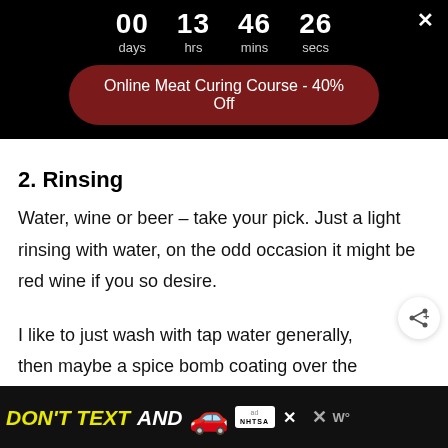[Figure (screenshot): Countdown timer showing 00 days, 13 hrs, 46 mins, 26 secs with a red promotional button 'Online Meat Curing Course - 40% Off' on black background]
2. Rinsing
Water, wine or beer – take your pick. Just a light rinsing with water, on the odd occasion it might be red wine if you so desire.
I like to just wash with tap water generally, then maybe a spice bomb coating over the meat, when its wet from rinsing you can load some fine ground spices.
[Figure (infographic): Bottom advertisement banner: DON'T TEXT AND [car emoji] ad badge with NHTSA logo and close button]